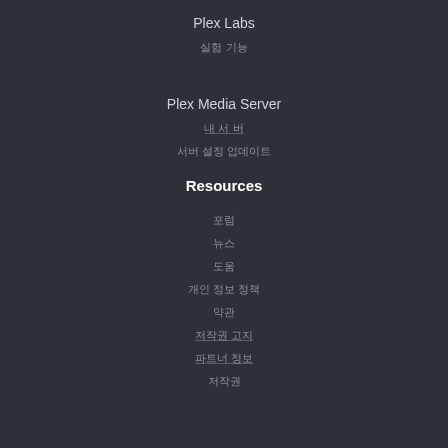Plex Labs
실험 기능
Plex Media Server
내 서 버
서버 설정 업데이트
Resources
포럼
뉴스
도움
개인 정보 정책
약관
저작권 고지
파트너 정보
저작권